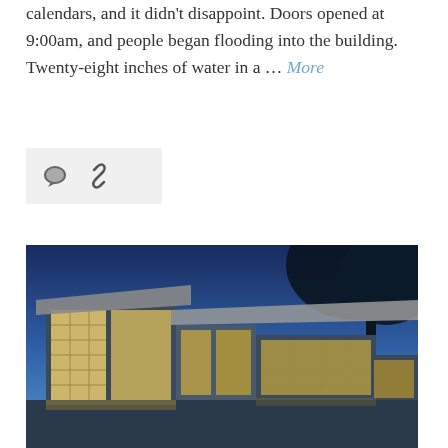calendars, and it didn't disappoint. Doors opened at 9:00am, and people began flooding into the building. Twenty-eight inches of water in a … More
[Figure (other): Icon bar with speech bubble and link/chain icons on a light grey background]
[Figure (photo): Exterior dusk photograph of a modern building with large glass windows illuminated from inside, set against a deep blue twilight sky with trees silhouetted in the upper right corner]